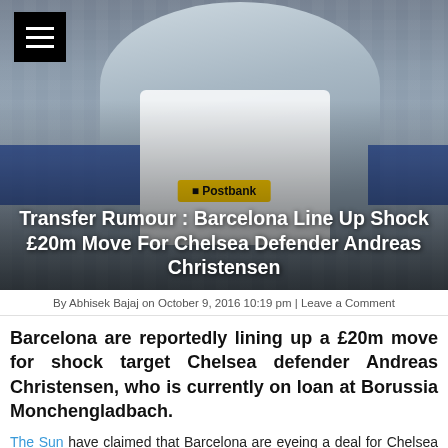[Figure (photo): Andreas Christensen in a white Borussia Monchengladbach jersey with a Postbank advertisement banner behind him, stadium seating in background. Hamburger menu icon in top-left corner.]
Transfer Rumour : Barcelona Line Up Shock £20m Move For Chelsea Defender Andreas Christensen
By Abhisek Bajaj on October 9, 2016 10:19 pm | Leave a Comment
Barcelona are reportedly lining up a £20m move for shock target Chelsea defender Andreas Christensen, who is currently on loan at Borussia Monchengladbach.
The Sun have claimed that Barcelona are eyeing a deal for Chelsea youngster Andreas Christensen. The Dane, who is currently on loan at Borussia Monchengladbach, has reportedly caught the attention of Barcelona